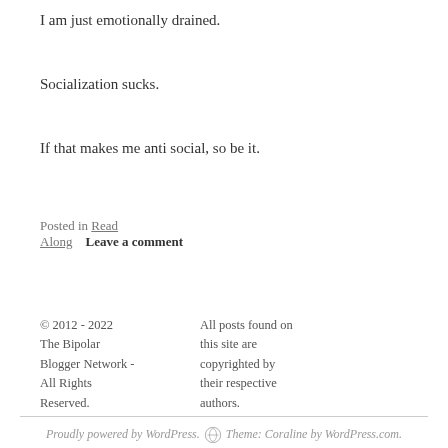I am just emotionally drained.
Socialization sucks.
If that makes me anti social, so be it.
Posted in Read Along   Leave a comment
© 2012 - 2022 The Bipolar Blogger Network - All Rights Reserved.   All posts found on this site are copyrighted by their respective authors.
Proudly powered by WordPress. Theme: Coraline by WordPress.com.